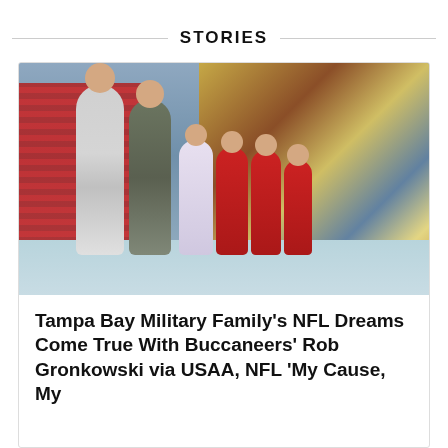STORIES
[Figure (photo): Group photo of a military family with NFL player Rob Gronkowski at Raymond James Stadium (Tampa Bay Buccaneers), standing in front of the pirate ship mural. The group includes two adults and four children, some wearing Buccaneers red.]
Tampa Bay Military Family's NFL Dreams Come True With Buccaneers' Rob Gronkowski via USAA, NFL 'My Cause, My...